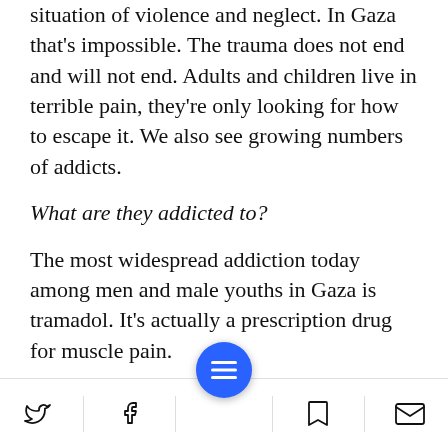situation of violence and neglect. In Gaza that's impossible. The trauma does not end and will not end. Adults and children live in terrible pain, they're only looking for how to escape it. We also see growing numbers of addicts.
What are they addicted to?
The most widespread addiction today among men and male youths in Gaza is tramadol. It's actually a prescription drug for muscle pain.
It's an opiate?
Yes. One of the side effects of tramadol – it's
Social share bar with Twitter, Facebook, menu, bookmark, and email icons